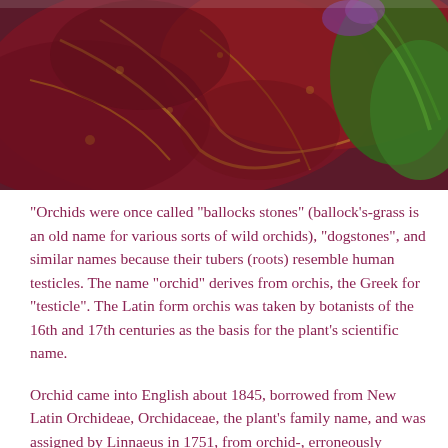[Figure (photo): Close-up photograph of dark red and green orchid flowers and leaves, showing mottled textures in deep crimson, red, and green tones.]
“Orchids were once called “ballocks stones” (ballock’s-grass is an old name for various sorts of wild orchids), “dogstones”, and similar names because their tubers (roots) resemble human testicles. The name “orchid” derives from orchis, the Greek for “testicle”. The Latin form orchis was taken by botanists of the 16th and 17th centuries as the basis for the plant’s scientific name.
Orchid came into English about 1845, borrowed from New Latin Orchideae, Orchidaceae, the plant’s family name, and was assigned by Linnaeus in 1751, from orchid-, erroneously assumed as the stem of Latin orchis.